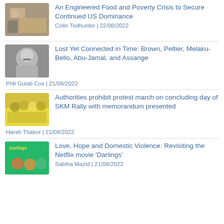[Figure (photo): Thumbnail image for first article]
An Engineered Food and Poverty Crisis to Secure Continued US Dominance
Colin Todhunter | 22/08/2022
[Figure (photo): Thumbnail image for second article - black and white portrait]
Lost Yet Connected in Time: Brown, Peltier, Melaku-Bello, Abu-Jamal, and Assange
Priti Gulati Cox | 21/08/2022
[Figure (photo): Thumbnail image for third article - group of people]
Authorities prohibit protest march on concluding day of SKM Rally with memorandum presented
Harsh Thakor | 21/08/2022
[Figure (photo): Thumbnail image for fourth article - Darlings movie poster]
Love, Hope and Domestic Violence: Revisiting the Netflix movie 'Darlings'
Sabiha Mazid | 21/08/2022